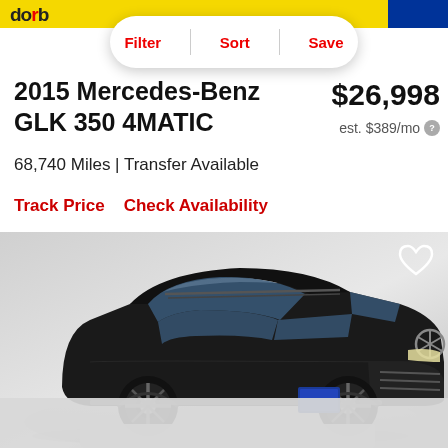[Figure (screenshot): Top navigation banner with yellow background and Cars.com logo, blue accent on right]
[Figure (infographic): Filter | Sort | Save pill-shaped button overlay]
2015 Mercedes-Benz GLK 350 4MATIC
$26,998
est. $389/mo
68,740 Miles | Transfer Available
Track Price    Check Availability
[Figure (photo): Black 2015 Mercedes-Benz GLK 350 4MATIC SUV on white/grey studio background, three-quarter front view from driver side]